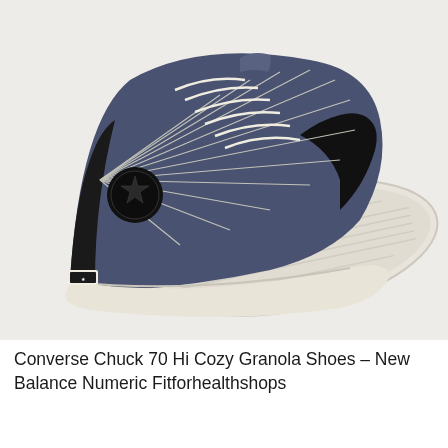[Figure (photo): Two Converse Chuck 70 Hi Cozy Granola sneakers photographed on a light grey/beige background. The shoes feature navy blue canvas upper with white contrast stitching in radiating lines, black leather accents at the heel and toe, cream/off-white thick platform sole, cream laces, and the Converse star chevron patch in black on the ankle. One shoe is shown upright from the side and the other is tipped on its side showing the sole tread pattern. The sole is cream/off-white with ribbed texture.]
Converse Chuck 70 Hi Cozy Granola Shoes – New Balance Numeric Fitforhealthshops